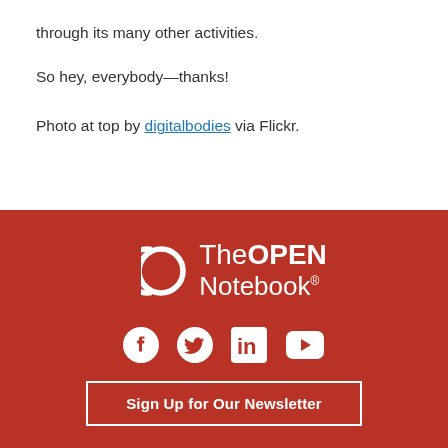through its many other activities.
So hey, everybody—thanks!
Photo at top by digitalbodies via Flickr.
[Figure (logo): The Open Notebook logo with two overlapping crescents and social media icons (Facebook, Twitter, LinkedIn, YouTube) and a Sign Up for Our Newsletter button on a dark red background]